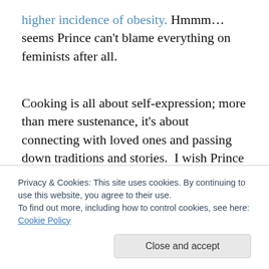higher incidence of obesity. Hmmm…seems Prince can't blame everything on feminists after all.
Cooking is all about self-expression; more than mere sustenance, it's about connecting with loved ones and passing down traditions and stories.  I wish Prince had taken the opportunity to dispel gender myths surrounding cooking, rather than wallow in them.  If men want to bake
Privacy & Cookies: This site uses cookies. By continuing to use this website, you agree to their use.
To find out more, including how to control cookies, see here: Cookie Policy
Close and accept
you haven't abandoned your ideas.  And don't worry,